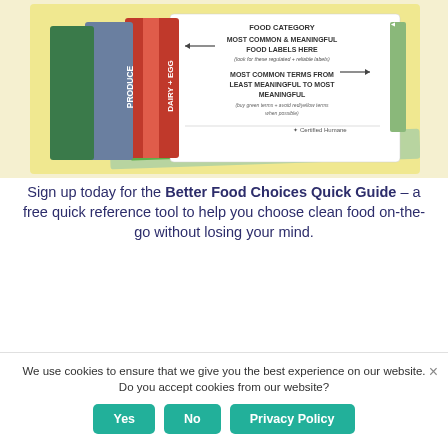[Figure (illustration): A promotional image showing a fanned-out set of food label quick reference guide cards. Cards labeled PRODUCE, DAIRY + EGG, MEAT + POULTRY, HOW TO USE are visible. Text on the how-to-use card reads: FOOD CATEGORY, MOST COMMON & MEANINGFUL FOOD LABELS HERE (look for these regulated + reliable labels), MOST COMMON TERMS FROM LEAST MEANINGFUL TO MOST MEANINGFUL (buy green terms + avoid red/yellow terms when possible). A side tab reads MOST MEANINGFUL. Background is pale yellow.]
Sign up today for the Better Food Choices Quick Guide – a free quick reference tool to help you choose clean food on-the-go without losing your mind.
We use cookies to ensure that we give you the best experience on our website. Do you accept cookies from our website?